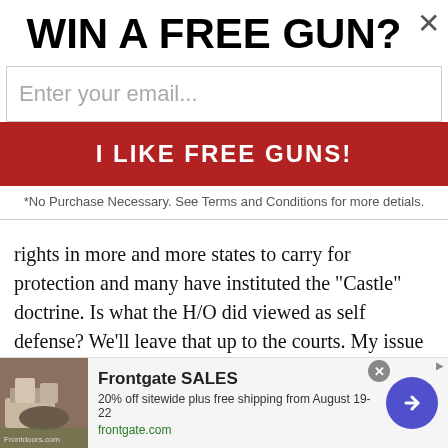WIN A FREE GUN?
Enter your email...
I LIKE FREE GUNS!
*No Purchase Necessary. See Terms and Conditions for more detials.
rights in more and more states to carry for protection and many have instituted the "Castle" doctrine. Is what the H/O did viewed as self defense? We'll leave that up to the courts. My issue constitutes the abilities of the "bad guys" I would say a majority of them are untrained, undisiplined kids or young adults. I want each of you to ask yourselves this what if that H/O would have encountered a BG who had firearm training and abilities? Here is where you must decide between self preservation and "heroics". There is a reason trained "good guys" never clear
[Figure (other): Advertisement banner for Frontgate SALES: 20% off sitewide plus free shipping from August 19-22. Shows outdoor furniture photo, Frontgate SALES text, and a blue arrow button.]